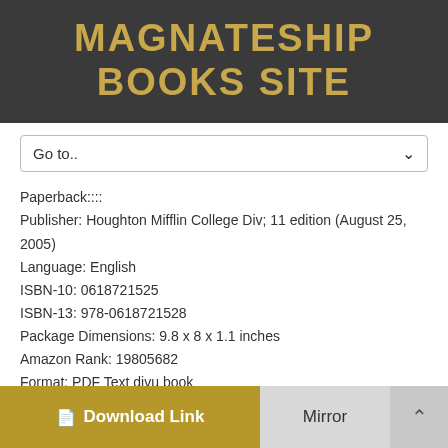MAGNATESHIP BOOKS SITE
Go to..
Paperback::::
Publisher: Houghton Mifflin College Div; 11 edition (August 25, 2005)
Language: English
ISBN-10: 0618721525
ISBN-13: 978-0618721528
Package Dimensions: 9.8 x 8 x 1.1 inches
Amazon Rank: 19805682
Format: PDF Text djvu book
Download Link
Mirror